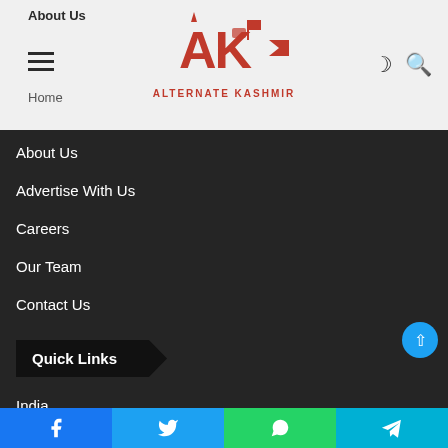About Us
[Figure (logo): Alternate Kashmir logo with AK letters and pen/arrow graphic in red, with text ALTERNATE KASHMIR below]
About Us
Advertise With Us
Careers
Our Team
Contact Us
Quick Links
India
World
Politics
J&K
Facebook  Twitter  WhatsApp  Telegram